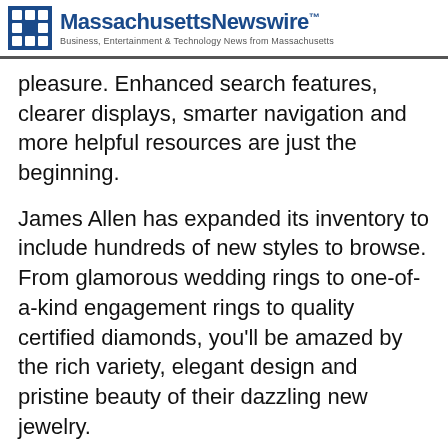MassachusettsNewswire™ Business, Entertainment & Technology News from Massachusetts
pleasure. Enhanced search features, clearer displays, smarter navigation and more helpful resources are just the beginning.
James Allen has expanded its inventory to include hundreds of new styles to browse. From glamorous wedding rings to one-of-a-kind engagement rings to quality certified diamonds, you'll be amazed by the rich variety, elegant design and pristine beauty of their dazzling new jewelry.
With thousands of photographed GIA and AGS certified diamonds to choose from, James Allen has placed complete control into the hands of the consumer. The innovative Zoom View allows the